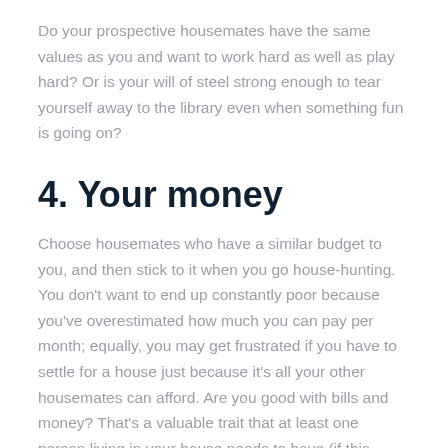Do your prospective housemates have the same values as you and want to work hard as well as play hard? Or is your will of steel strong enough to tear yourself away to the library even when something fun is going on?
4. Your money
Choose housemates who have a similar budget to you, and then stick to it when you go house-hunting. You don't want to end up constantly poor because you've overestimated how much you can pay per month; equally, you may get frustrated if you have to settle for a house just because it's all your other housemates can afford. Are you good with bills and money? That's a valuable trait that at least one person living in your house needs to have (if this person is you, then you'll be an asset wherever you live!).